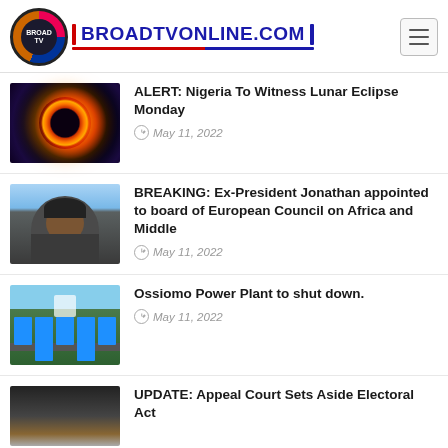BROADTVONLINE.COM
[Figure (photo): Solar eclipse photo — glowing ring around dark moon]
ALERT: Nigeria To Witness Lunar Eclipse Monday
May 11, 2022
[Figure (photo): Portrait of ex-President Goodluck Jonathan in dark attire]
BREAKING: Ex-President Jonathan appointed to board of European Council on Africa and Middle
May 11, 2022
[Figure (photo): Aerial view of Ossiomo Power Plant with blue buildings]
Ossiomo Power Plant to shut down.
May 11, 2022
[Figure (photo): Partial photo for UPDATE story — dark brownish tones]
UPDATE: Appeal Court Sets Aside Electoral Act